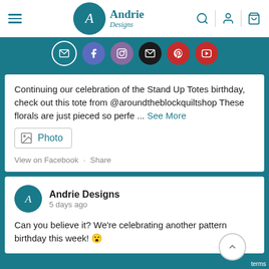Andrie Designs
[Figure (screenshot): Social media icons bar: email, Facebook, Instagram, email, Pinterest, YouTube]
Continuing our celebration of the Stand Up Totes birthday, check out this tote from @aroundtheblockquiltshop These florals are just pieced so perfe ... See More
Photo
View on Facebook · Share
Andrie Designs
5 days ago
Can you believe it? We're celebrating another pattern birthday this week! 😮